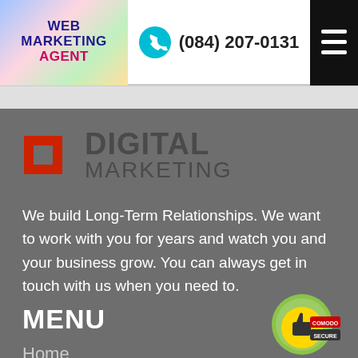[Figure (logo): Web Marketing Agent logo with colorful gradient background, text reads WEB MARKETING AGENT]
(084) 207-0131
[Figure (logo): Digital Marketing logo with red icon and dark gray text]
We build Long-Term Relationships. We want to work with you for years and watch you and your business grow. You can always get in touch with us when you need to.
MENU
[Figure (logo): Comodo Secure badge with thumbs up icon]
Home